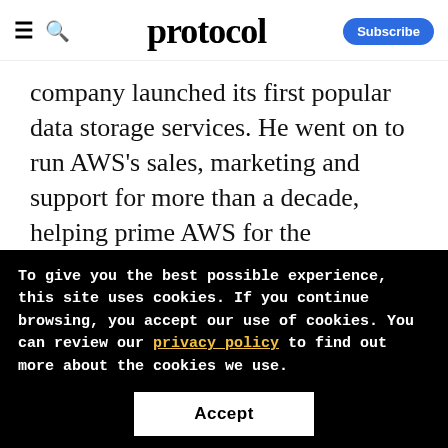protocol — Subscribe
company launched its first popular data storage services. He went on to run AWS's sales, marketing and support for more than a decade, helping prime AWS for the behemoth it would become. He helped lead the company's EC2 and S3 storage service when it launched shortly
To give you the best possible experience, this site uses cookies. If you continue browsing, you accept our use of cookies. You can review our privacy policy to find out more about the cookies we use.
Accept